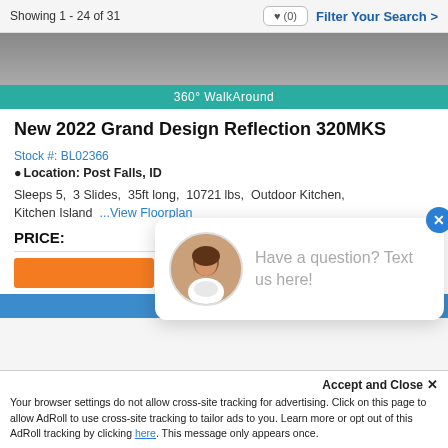Showing 1 - 24 of 31
[Figure (photo): Partial photo of an RV or outdoor scene]
360° WalkAround
New 2022 Grand Design Reflection 320MKS
Stock #: BL02366
Location: Post Falls, ID
Sleeps 5, 3 Slides, 35ft long, 10721 lbs, Outdoor Kitchen, Kitchen Island ...View Floorplan
PRICE:
Have a question? Text us here!
Accept and Close ✕
Your browser settings do not allow cross-site tracking for advertising. Click on this page to allow AdRoll to use cross-site tracking to tailor ads to you. Learn more or opt out of this AdRoll tracking by clicking here. This message only appears once.